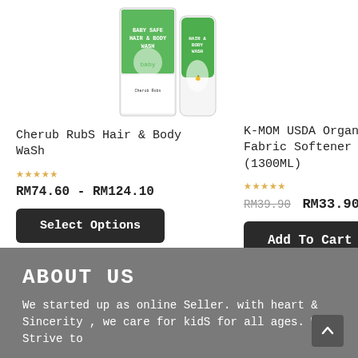[Figure (photo): Product image of Cherub Rubs Hair & Body Wash — two product packages (box and bottle) with green label and baby photo]
Cherub RubS Hair & Body WaSh
☆☆☆☆☆
RM74.60 - RM124.10
Select Options
K-MOM USDA Organic Baby Fabric Softener (1300ML)
☆☆☆☆☆
RM39.90  RM33.90
Add To Cart
ABOUT US
We started up as online Seller. with heart & Sincerity , we care for kidS for all ages. We Strive to